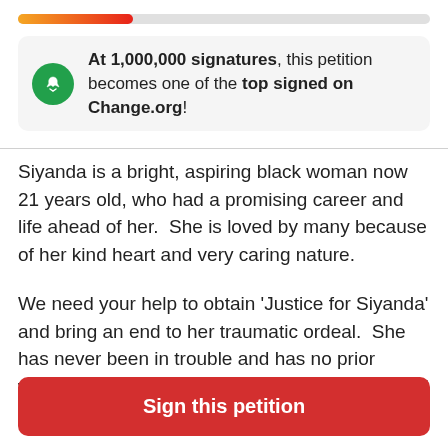[Figure (infographic): Progress bar showing petition signature count, partially filled with orange-to-red gradient, approximately 28% full]
At 1,000,000 signatures, this petition becomes one of the top signed on Change.org!
Siyanda is a bright, aspiring black woman now 21 years old, who had a promising career and life ahead of her.  She is loved by many because of her kind heart and very caring nature.
We need your help to obtain 'Justice for Siyanda' and bring an end to her traumatic ordeal.  She has never been in trouble and has no prior warnings or convictions. Siyanda has been failed by the system because of the colour of her skin.
Sign this petition